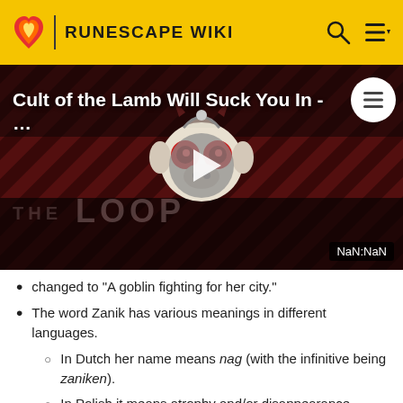RUNESCAPE WIKI
[Figure (screenshot): Video thumbnail for 'Cult of the Lamb Will Suck You In - ...' showing a cartoon creature with devil horns and red eyes on a dark red diagonal striped background, with THE LOOP text watermark, a play button in the center, and a NaN:NaN timer badge in the bottom right.]
changed to "A goblin fighting for her city."
The word Zanik has various meanings in different languages.
In Dutch her name means nag (with the infinitive being zaniken).
In Polish it means atrophy and/or disappearance.